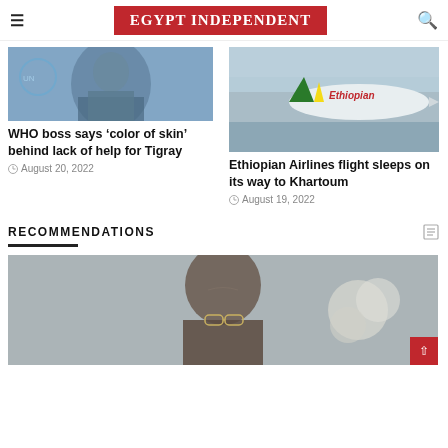EGYPT INDEPENDENT
[Figure (photo): Man in suit at WHO press conference with UN logo in background]
WHO boss says ‘color of skin’ behind lack of help for Tigray
August 20, 2022
[Figure (photo): Ethiopian Airlines aircraft in flight with Ethiopian branding visible]
Ethiopian Airlines flight sleeps on its way to Khartoum
August 19, 2022
RECOMMENDATIONS
[Figure (photo): Close-up of a man's face with glasses and a floral background]